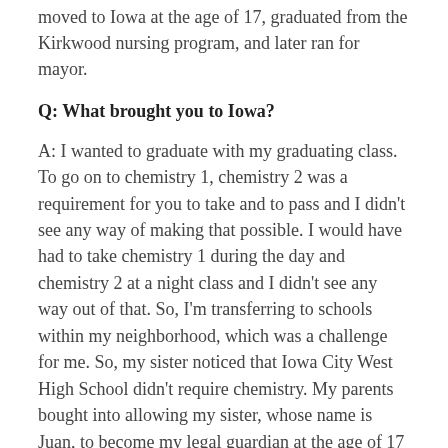moved to Iowa at the age of 17, graduated from the Kirkwood nursing program, and later ran for mayor.
Q: What brought you to Iowa?
A: I wanted to graduate with my graduating class. To go on to chemistry 1, chemistry 2 was a requirement for you to take and to pass and I didn't see any way of making that possible. I would have had to take chemistry 1 during the day and chemistry 2 at a night class and I didn't see any way out of that. So, I'm transferring to schools within my neighborhood, which was a challenge for me. So, my sister noticed that Iowa City West High School didn't require chemistry. My parents bought into allowing my sister, whose name is Juan, to become my legal guardian at the age of 17 and I moved here with her and I finished school.
Q: How did you choose the nursing program?